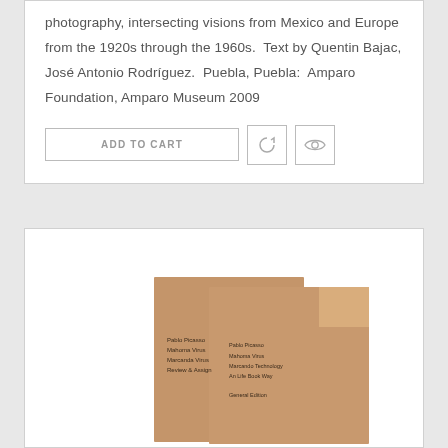photography, intersecting visions from Mexico and Europe from the 1920s through the 1960s.  Text by Quentin Bajac, José Antonio Rodríguez.  Puebla, Puebla:  Amparo Foundation, Amparo Museum 2009
[Figure (other): Add to Cart button and two icon buttons (refresh/sync icon and eye/preview icon)]
[Figure (photo): Photo of two brown/kraft paper book covers with small text, overlapping each other slightly]